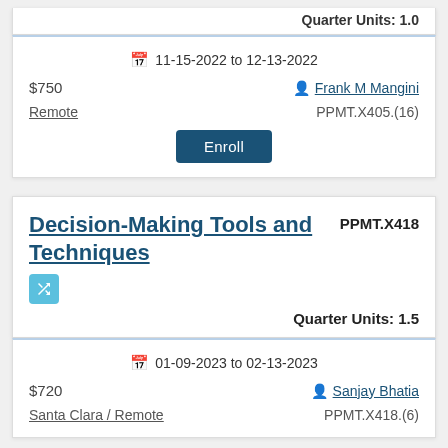Quarter Units: 1.0
11-15-2022 to 12-13-2022
$750
Frank M Mangini
Remote
PPMT.X405.(16)
Enroll
Decision-Making Tools and Techniques
PPMT.X418
Quarter Units: 1.5
01-09-2023 to 02-13-2023
$720
Sanjay Bhatia
Santa Clara / Remote
PPMT.X418.(6)